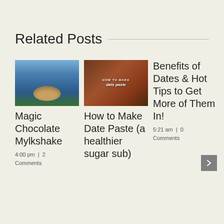Related Posts
[Figure (photo): Person in blue jacket holding a bowl with a smoothie or mylkshake]
Magic Chocolate Mylkshake
4:00 pm  |  2 Comments
[Figure (photo): How to Make date paste - jar of chocolate date paste on a wooden surface]
How to Make Date Paste (a healthier sugar sub)
Benefits of Dates & Hot Tips to Get More of Them In!
5:21 am  |  0 Comments